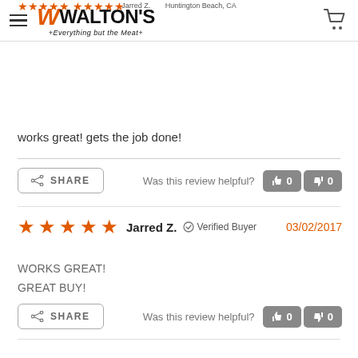Walton's - Everything but the Meat
works great! gets the job done!
SHARE | Was this review helpful? 0 0
★★★★★ Jarred Z. ✓ Verified Buyer 03/02/2017
WORKS GREAT!
GREAT BUY!
SHARE | Was this review helpful? 0 0